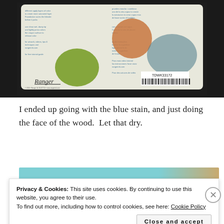[Figure (photo): Back of a Ranger brand Tim Holtz Distress Watercolor Crayon product card on a dark surface, showing green and orange and blue-gray ink swatches, multilingual instructions text, barcode TDWK33172, and Ranger logo.]
I ended up going with the blue stain, and just doing the face of the wood.  Let that dry.
[Figure (photo): Partial photo showing blue-green and tan/wood colored surface, partially obscured by cookie consent banner.]
Privacy & Cookies: This site uses cookies. By continuing to use this website, you agree to their use.
To find out more, including how to control cookies, see here: Cookie Policy
Close and accept